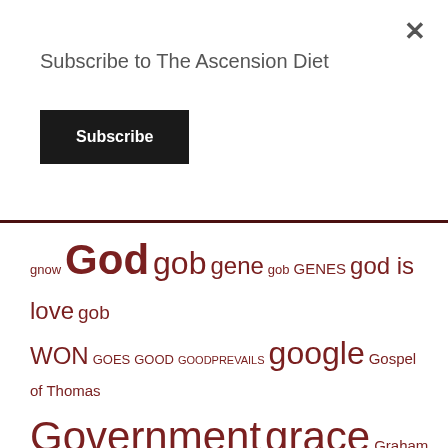Subscribe to The Ascension Diet
Subscribe
gnow God gob gene gob genes god is love gob WON GOES GOOD GOODPREVAILS google Gospel of Thomas Government grace Graham Hancock GRANDCHILDREN Grand Crossing GRANDDAUGHTER GRATEFUL Greed grid collapse grid down grief groupthink guinea pigs GWEN towers HAARP hacking Halftime halide halo HAPPENING NOW HAPPYBIRTHDAY Happy Birthday HARD SUN HARD TRUTHS harpazo HEALING health Health Impact News Health Ranger healthy heart heart energy heart language heaven heavens HEAVY METAL